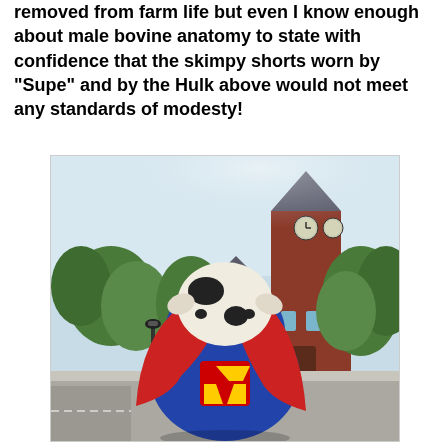removed from farm life but even I know enough about male bovine anatomy to state with confidence that the skimpy shorts worn by "Supe" and by the Hulk above would not meet any standards of modesty!
[Figure (photo): A cow figurine painted to look like Superman (wearing a blue Superman suit with red cape and the 'S' shield), photographed from behind, facing a red-brick clock tower building with trees in the background on a sunny day.]